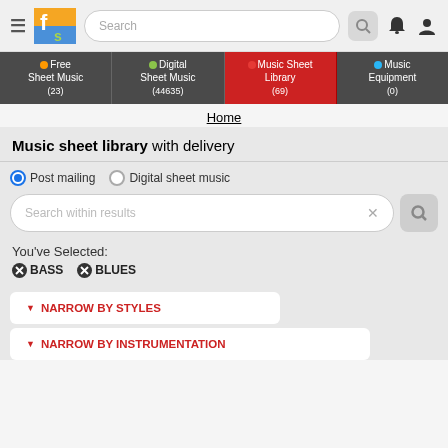[Figure (screenshot): Website header with hamburger menu, logo (orange/green 'fs'), search bar, search icon, bell notification icon, and user icon]
[Figure (screenshot): Navigation tabs: Free Sheet Music (23), Digital Sheet Music (44635), Music Sheet Library (69) active in red, Music Equipment (0)]
Home
Music sheet library with delivery
Post mailing  Digital sheet music
Search within results
You've Selected:
BASS  BLUES
NARROW BY STYLES
NARROW BY INSTRUMENTATION